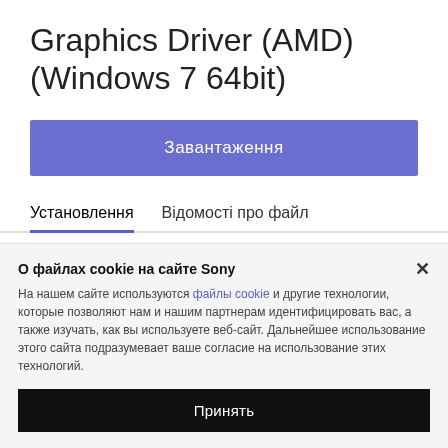Graphics Driver (AMD) (Windows 7 64bit)
Завантаження
Установлення	Відомості про файл
7. Read the Software License Agreement and click I Agree .
8. At the Finished screen, click Finish .
9. At This system must be restarted to complete the installation , click OK to reboot the system.
О файлах cookie на сайте Sony
На нашем сайте используются файлы cookie и другие технологии, которые позволяют нам и нашим партнерам идентифицировать вас, а также изучать, как вы используете веб-сайт. Дальнейшее использование этого сайта подразумевает ваше согласие на использование этих технологий.
Принять